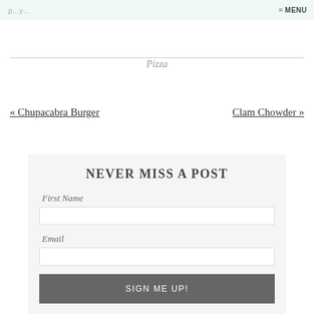≡ MENU
p...y...
Pizza
« Chupacabra Burger    Clam Chowder »
NEVER MISS A POST
First Name
Email
SIGN ME UP!